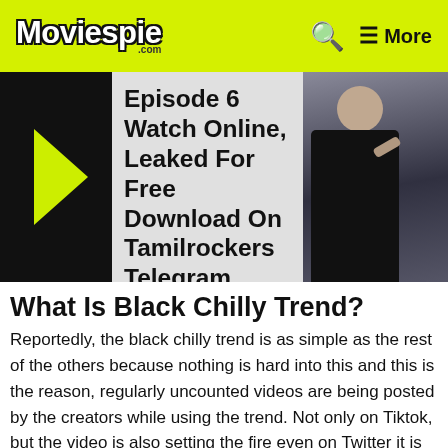Moviespie.com — More
[Figure (screenshot): Banner with black box and arrow on left, text 'Episode 6 Watch Online, Leaked For Free Download On Tamilrockers Telegram' in center, photo of person in dark clothing on right]
What Is Black Chilly Trend?
Reportedly, the black chilly trend is as simple as the rest of the others because nothing is hard into this and this is the reason, regularly uncounted videos are being posted by the creators while using the trend. Not only on Tiktok, but the video is also setting the fire even on Twitter it is making the same